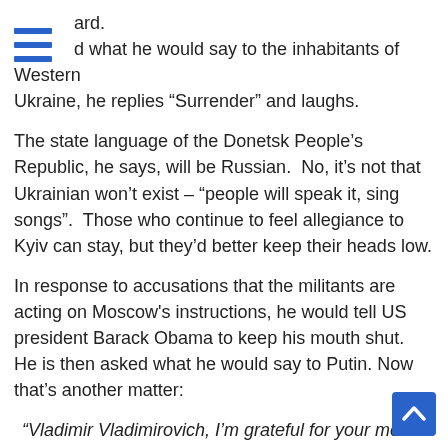ard.
[Figure (other): Hamburger menu icon with three blue horizontal bars]
d what he would say to the inhabitants of Western Ukraine, he replies “Surrender” and laughs.
The state language of the Donetsk People’s Republic, he says, will be Russian. No, it’s not that Ukrainian won’t exist – “people will speak it, sing songs”. Those who continue to feel allegiance to Kyiv can stay, but they’d better keep their heads low.
In response to accusations that the militants are acting on Moscow's instructions, he would tell US president Barack Obama to keep his mouth shut. He is then asked what he would say to Putin. Now that’s another matter:
“Vladimir Vladimirovich, I’m grateful for your moral support. I can’t hear your words, but from a distance I understand that you are with us in spirit. You don’t have to say much to us. We’ll succeed with everything.”
If this interview had appeared in a Ukrainian publication, you would suspect it of being a fake, designed to discredit Russia. In fact, though, if he wasn’t so determinedly voc and inclined to make public utterances, one could imag
[Figure (other): Blue scroll-to-top button with white upward chevron arrow]